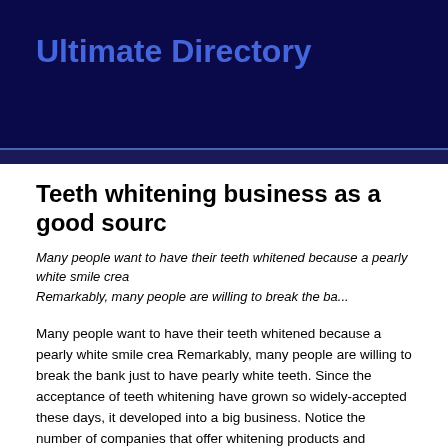Ultimate Directory
Teeth whitening business as a good sourc
Many people want to have their teeth whitened because a pearly white smile crea Remarkably, many people are willing to break the ba...
Many people want to have their teeth whitened because a pearly white smile crea Remarkably, many people are willing to break the bank just to have pearly white teeth. Since the acceptance of teeth whitening have grown so widely-accepted these days, it developed into a big business. Notice the number of companies that offer whitening products and services And it will be easy to hop on the bandwagon.
A limited budget is not a problem; you can have your own teeth whitening system and help other people. But before starting a teeth whitening business, you have to co plan, location, advertising, all of these will affect your way of making money out o